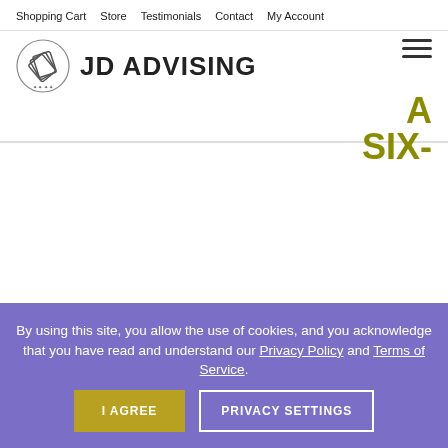Shopping Cart  Store  Testimonials  Contact  My Account
[Figure (logo): JD Advising logo with diploma/scroll icon and text 'JD ADVISING']
A SIX-
By using this site, you allow the use of cookies, and you acknowledge that you have read and understand our Privacy Policy and Terms of Service.
I AGREE   PRIVACY SETTINGS